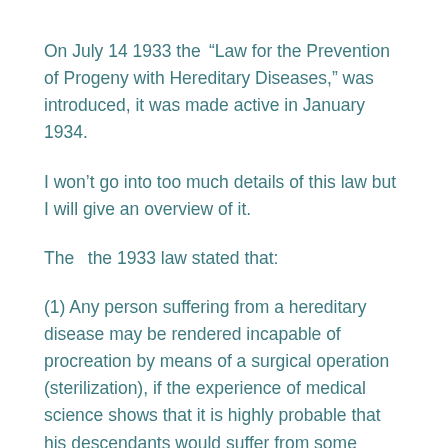On July 14 1933 the “Law for the Prevention of Progeny with Hereditary Diseases,” was introduced, it was made active in January 1934.
I won’t go into too much details of this law but I will give an overview of it.
The  the 1933 law stated that:
(1) Any person suffering from a hereditary disease may be rendered incapable of procreation by means of a surgical operation (sterilization), if the experience of medical science shows that it is highly probable that his descendants would suffer from some serious physical or mental hereditary defect.
(2) For the purposes of this law, any person will be considered as hereditarily diseased who is suffering from